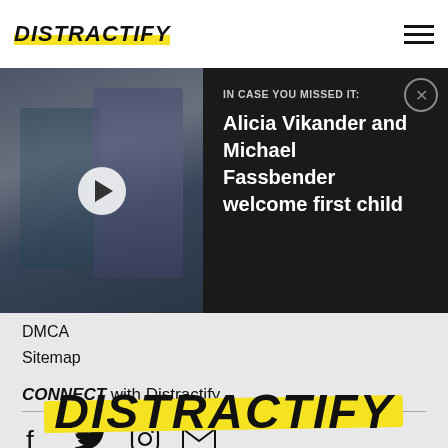DISTRACTIFY
[Figure (screenshot): Video thumbnail showing two people at a red carpet event with a play button overlay]
IN CASE YOU MISSED IT: Alicia Vikander and Michael Fassbender welcome first child
DMCA
Sitemap
CONNECT with Distractify
[Figure (infographic): Social media icons: Facebook, Twitter, Instagram, Email]
[Figure (logo): Distractify logo with yellow brush stroke background, large footer version]